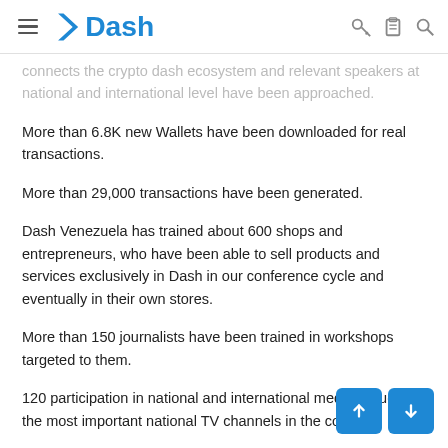Dash
connects the crypto dash ecosystem and relevant speakers at national and international level have been approached.
More than 6.8K new Wallets have been downloaded for real transactions.
More than 29,000 transactions have been generated.
Dash Venezuela has trained about 600 shops and entrepreneurs, who have been able to sell products and services exclusively in Dash in our conference cycle and eventually in their own stores.
More than 150 journalists have been trained in workshops targeted to them.
120 participation in national and international media including the most important national TV channels in the country.
Alliances have been established with universities, specialized media, professional associations, chambers of commerce and entrepreneurs from different economic sectors.